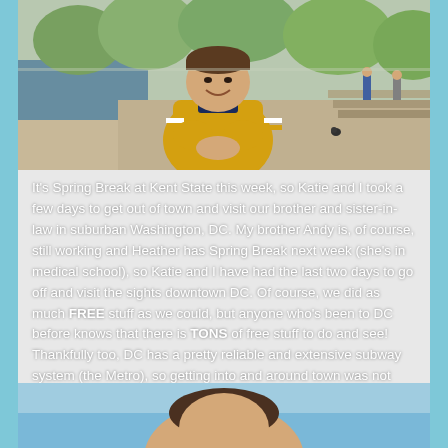[Figure (photo): Young man in a yellow and navy varsity jacket, smiling with hands clasped under his chin, sitting near a reflecting pool or body of water in what appears to be a Washington DC park setting. Trees and other people visible in the background.]
It's Spring Break at Kent State this week, so Katie and I took a few days to get out of town and visit our brother and sister-in-law in suburban Washington, DC. My brother Andy is, of course, still working and Heather has Spring Break next week (she's in medical school), so Katie and I have had the last two days to go off and visit the sights downtown DC. Of course, we did as much FREE stuff as we could, but anyone who's been to DC before knows that there is TONS of free stuff to do and see! Thankfully too, DC has a pretty reliable and extensive subway system (the Metro), so getting into and around town was not hard at all. I did get in my fair share of walking yesterday, though!
[Figure (photo): Partial view of a person photographed outdoors against a blue sky background, bottom portion of image visible only.]